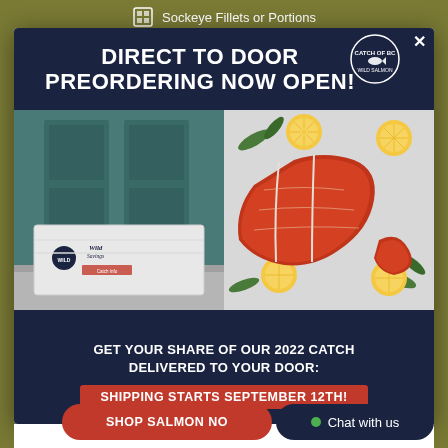Sockeye Fillets or Portions
[Figure (photo): Promotional popup modal showing a seafood direct-to-door preorder advertisement. Left photo: a white branded shipping box on a doorstep in front of a dark teal door. Right photo: fresh sockeye salmon fillets/portions arranged with lemon slices and herbs on a light background.]
DIRECT TO DOOR PREORDERING NOW OPEN!
GET YOUR SHARE OF OUR 2022 CATCH DELIVERED TO YOUR DOOR:
SHIPPING STARTS SEPTEMBER 12TH!
SHOP SALMON NO...
Chat with us